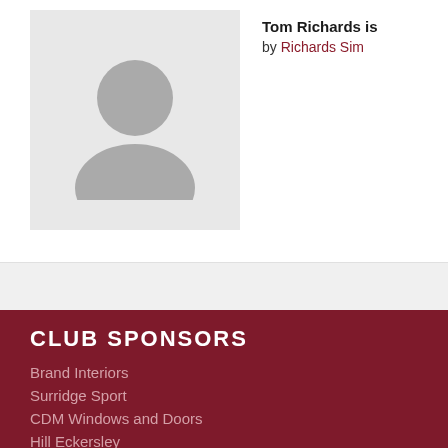[Figure (photo): Generic user profile placeholder image with grey background showing a silhouette of a person]
Tom Richards is by Richards Sim
CLUB SPONSORS
Brand Interiors
Surridge Sport
CDM Windows and Doors
Hill Eckersley